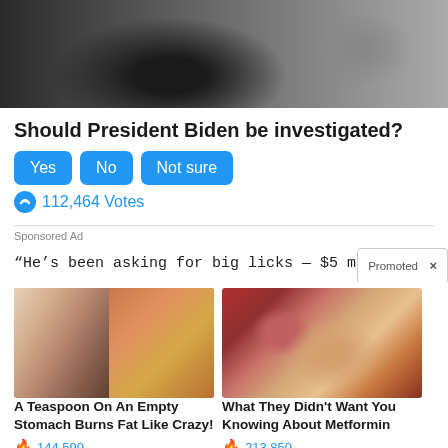[Figure (photo): Close-up photo of a man speaking at a public event with another man visible in the background]
Should President Biden be investigated?
Yes  No  Not sure
112,464 Votes
Sponsored Ad
"He's been asking for big licks — $5 m...
Promoted X
[Figure (photo): Ad image showing a woman's torso and a spoon with spice powder — diet/weight loss advertisement]
A Teaspoon On An Empty Stomach Burns Fat Like Crazy!
144,590
[Figure (photo): Ad image showing internal organ/medical imagery — Metformin advertisement]
What They Didn't Want You Knowing About Metformin
213,850